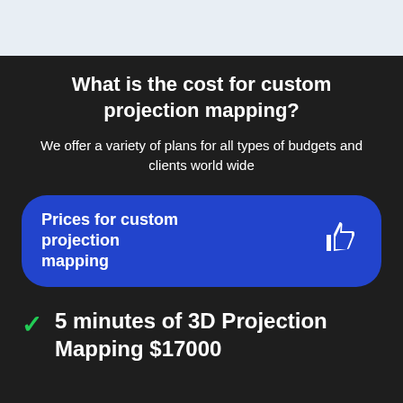What is the cost for custom projection mapping?
We offer a variety of plans for all types of budgets and clients world wide
Prices for custom projection mapping
5 minutes of 3D Projection Mapping $17000